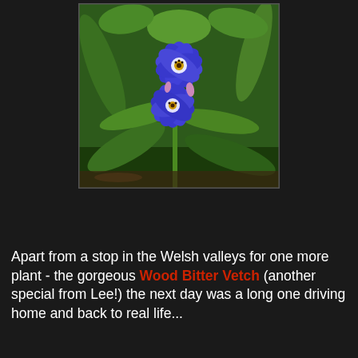[Figure (photo): Close-up photograph of a blue Wood Bitter Vetch flower with multiple star-shaped blue petals and a white/dark center, surrounded by green elongated leaves against a green background.]
Apart from a stop in the Welsh valleys for one more plant - the gorgeous Wood Bitter Vetch (another special from Lee!) the next day was a long one driving home and back to real life...